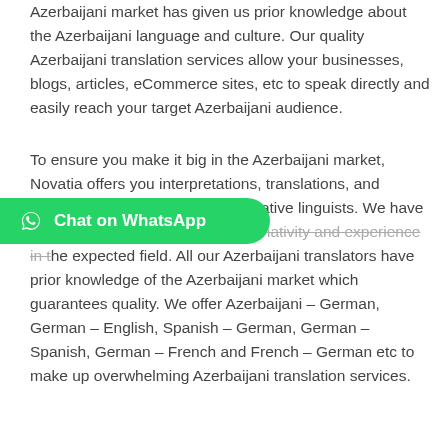Azerbaijani market has given us prior knowledge about the Azerbaijani language and culture. Our quality Azerbaijani translation services allow your businesses, blogs, articles, eCommerce sites, etc to speak directly and easily reach your target Azerbaijani audience.
To ensure you make it big in the Azerbaijani market, Novatia offers you interpretations, translations, and localisation services handled by native linguists. We have translators in Shagamubased on nativity and experience in the expected field. All our Azerbaijani translators have prior knowledge of the Azerbaijani market which guarantees quality. We offer Azerbaijani – German, German – English, Spanish – German, German – Spanish, German – French and French – German etc to make up overwhelming Azerbaijani translation services.
[Figure (other): Chat on WhatsApp button overlay — green pill-shaped button with WhatsApp icon and text 'Chat on WhatsApp']